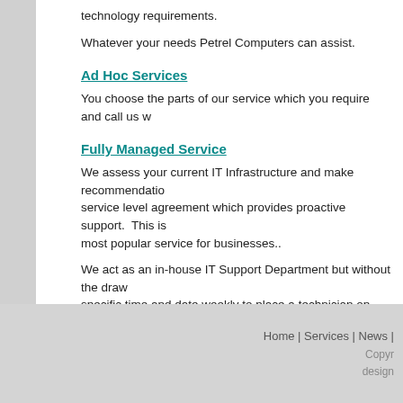technology requirements.
Whatever your needs Petrel Computers can assist.
Ad Hoc Services
You choose the parts of our service which you require and call us w
Fully Managed Service
We assess your current IT Infrastructure and make recommendations... service level agreement which provides proactive support. This is most popular service for businesses..
We act as an in-house IT Support Department but without the draw... specific time and date weekly to place a technician on-site to resolve access to a helpdesk to ensure timely service delivery. Your business management and reporting on all aspects of your technology. This becomes extremely easy.
With guarenteed response times you are assured of the best possi
Home | Services | News |  Copyright designed